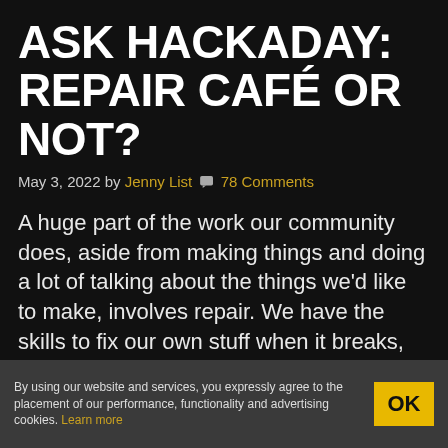ASK HACKADAY: REPAIR CAFÉ OR NOT?
May 3, 2022 by Jenny List 💬 78 Comments
A huge part of the work our community does, aside from making things and doing a lot of talking about the things we'd like to make, involves repair. We have the skills to fix our own stuff when it breaks, we can fix broken stuff that other people throw out when it breaks, and we can fix broken stuff belonging
By using our website and services, you expressly agree to the placement of our performance, functionality and advertising cookies. Learn more